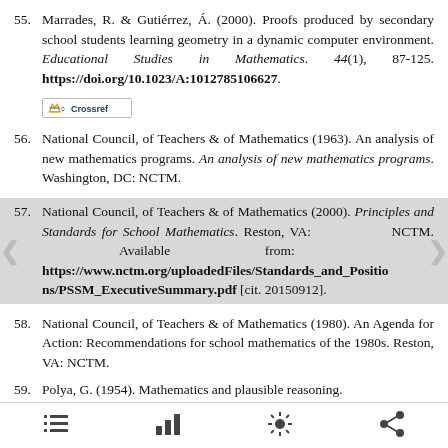55. Marrades, R. & Gutiérrez, Á. (2000). Proofs produced by secondary school students learning geometry in a dynamic computer environment. Educational Studies in Mathematics. 44(1), 87-125. https://doi.org/10.1023/A:1012785106627.
[Figure (logo): Crossref logo button]
56. National Council, of Teachers & of Mathematics (1963). An analysis of new mathematics programs. An analysis of new mathematics programs. Washington, DC: NCTM.
57. National Council, of Teachers & of Mathematics (2000). Principles and Standards for School Mathematics. Reston, VA: NCTM. Available from: https://www.nctm.org/uploadedFiles/Standards_and_Positions/PSSM_ExecutiveSummary.pdf [cit. 20150912].
58. National Council, of Teachers & of Mathematics (1980). An Agenda for Action: Recommendations for school mathematics of the 1980s. Reston, VA: NCTM.
59. Polya, G. (1954). Mathematics and plausible reasoning.